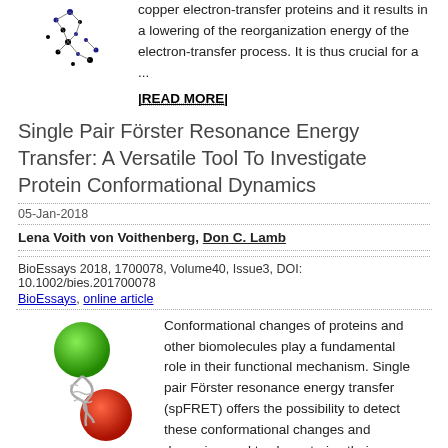[Figure (illustration): Molecular structure image with blue and black dots/nodes on white background, top left]
copper electron-transfer proteins and it results in a lowering of the reorganization energy of the electron-transfer process. It is thus crucial for a ...
|READ MORE|
Single Pair Förster Resonance Energy Transfer: A Versatile Tool To Investigate Protein Conformational Dynamics
05-Jan-2018
Lena Voith von Voithenberg, Don C. Lamb
BioEssays 2018, 1700078, Volume40, Issue3, DOI: 10.1002/bies.201700078
BioEssays, online article
[Figure (illustration): Protein molecule illustration with green and red spheres attached to a ribbon/coil structure]
Conformational changes of proteins and other biomolecules play a fundamental role in their functional mechanism. Single pair Förster resonance energy transfer (spFRET) offers the possibility to detect these conformational changes and dynamics, and to characterize their underlying kinetics. Using spFRET on microscopes with different modes of detection, dynamic ...
|READ MORE|